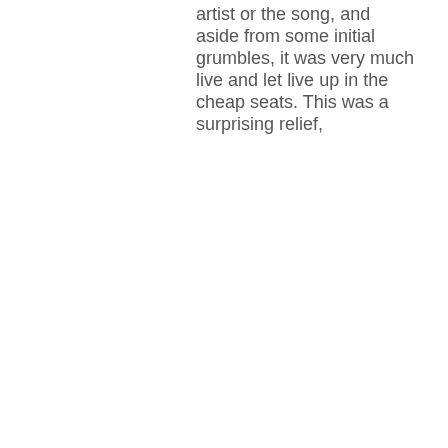artist or the song, and aside from some initial grumbles, it was very much live and let live up in the cheap seats. This was a surprising relief,